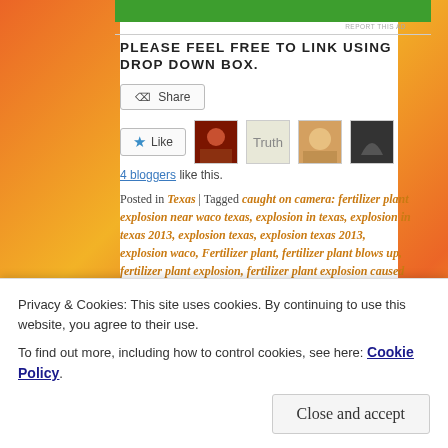[Figure (screenshot): Green banner advertisement at top of page]
PLEASE FEEL FREE TO LINK USING DROP DOWN BOX.
[Figure (screenshot): Share button with share icon]
[Figure (screenshot): Like button with star icon and four blogger avatars]
4 bloggers like this.
Posted in Texas | Tagged caught on camera: fertilizer plant explosion near waco texas, explosion in texas, explosion in texas 2013, explosion texas, explosion texas 2013, explosion waco, Fertilizer plant, fertilizer plant blows up, fertilizer plant explosion, fertilizer plant explosion caused by missile, fertilizer plant explosion near waco, fertilizer plant explosion near
Privacy & Cookies: This site uses cookies. By continuing to use this website, you agree to their use. To find out more, including how to control cookies, see here: Cookie Policy
Close and accept